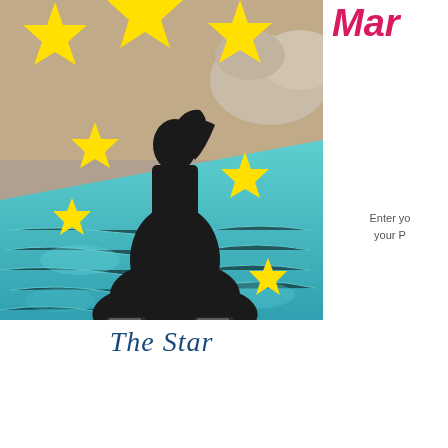[Figure (illustration): Tarot card image: a silhouette of a woman sitting in a lotus meditation pose on rocks near turquoise water, with large yellow stars arranged around her in the sky. The woman wears decorative patterned anklets. The background shows sandy/rocky terrain at the top and shimmering turquoise water at the bottom.]
Mar
Enter yo your P
The Star